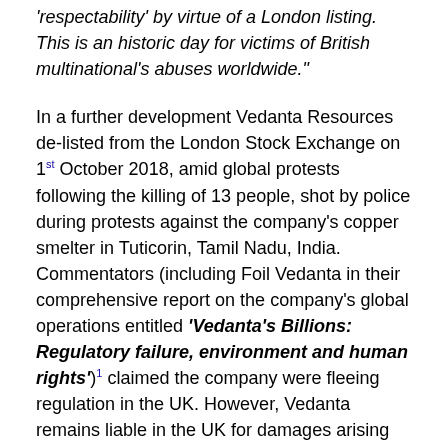'respectability' by virtue of a London listing. This is an historic day for victims of British multinational's abuses worldwide."
In a further development Vedanta Resources de-listed from the London Stock Exchange on 1st October 2018, amid global protests following the killing of 13 people, shot by police during protests against the company's copper smelter in Tuticorin, Tamil Nadu, India. Commentators (including Foil Vedanta in their comprehensive report on the company's global operations entitled 'Vedanta's Billions: Regulatory failure, environment and human rights')1 claimed the company were fleeing regulation in the UK. However, Vedanta remains liable in the UK for damages arising from the Zambian case.
It is now possible that claimants from some of the many of the leading corporations affected by pollution and b...